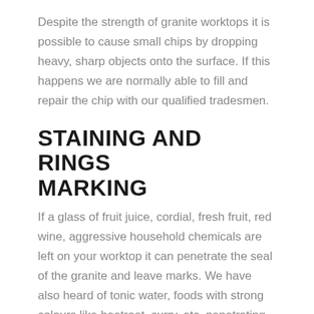Despite the strength of granite worktops it is possible to cause small chips by dropping heavy, sharp objects onto the surface. If this happens we are normally able to fill and repair the chip with our qualified tradesmen.
STAINING AND RINGS MARKING
If a glass of fruit juice, cordial, fresh fruit, red wine, aggressive household chemicals are left on your worktop it can penetrate the seal of the granite and leave marks. We have also heard of tonic water, foods with strong colours like beetroot, curry, etc. penetrating into the